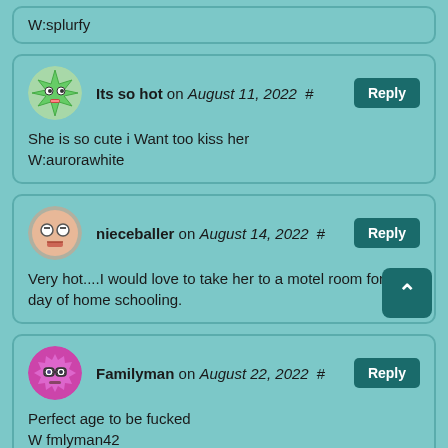W:splurfy
Its so hot on August 11, 2022 # Reply
She is so cute i Want too kiss her
W:aurorawhite
nieceballer on August 14, 2022 # Reply
Very hot....I would love to take her to a motel room for a day of home schooling.
Familyman on August 22, 2022 # Reply
Perfect age to be fucked
W fmlyman42